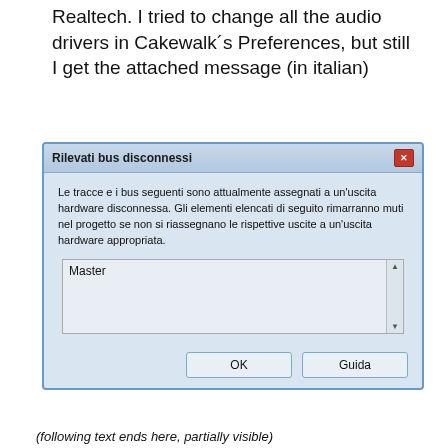Realtech. I tried to change all the audio drivers in Cakewalk´s Preferences, but still I get the attached message (in italian)
[Figure (screenshot): Windows dialog box titled 'Rilevati bus disconnessi' with Italian text explaining disconnected hardware output buses. Contains a listbox with 'Master' entry and two buttons: OK and Guida.]
(following text ends at the page bottom, partially visible)